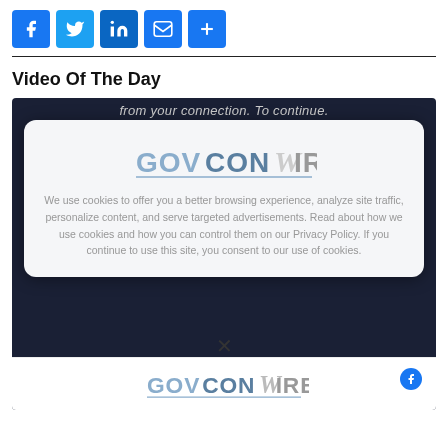[Figure (infographic): Row of social media sharing icons: Facebook (f), Twitter (bird), LinkedIn (in), Email (envelope), More (+), all on blue square backgrounds]
Video Of The Day
[Figure (screenshot): Screenshot of GovConWire website showing a cookie consent modal overlay on a dark video background. The modal displays the GovConWire logo and a cookie usage message. Below the modal is an X close button, and a second partial GovConWire logo appears at the bottom of the frame.]